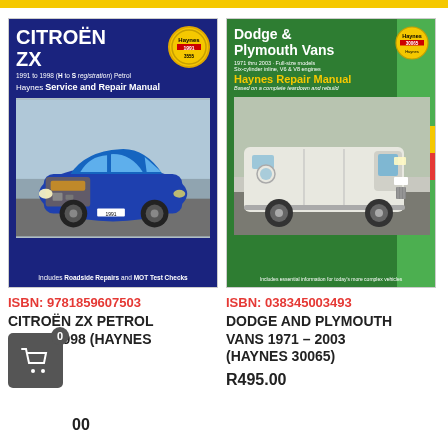[Figure (photo): Haynes Service and Repair Manual for Citroën ZX, 1991 to 1998 (H to S registration) Petrol. Blue cover with image of blue Citroën ZX car with cutaway engine view.]
[Figure (photo): Haynes Repair Manual for Dodge & Plymouth Vans, 1971 thru 2003. Green cover with image of white Dodge van.]
ISBN: 9781859607503
CITROËN ZX PETROL 1991 – 1998 (HAYNES
ISBN: 038345003493
DODGE AND PLYMOUTH VANS 1971 – 2003 (HAYNES 30065)
R495.00